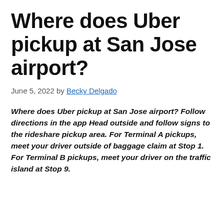Where does Uber pickup at San Jose airport?
June 5, 2022 by Becky Delgado
Where does Uber pickup at San Jose airport? Follow directions in the app Head outside and follow signs to the rideshare pickup area. For Terminal A pickups, meet your driver outside of baggage claim at Stop 1. For Terminal B pickups, meet your driver on the traffic island at Stop 9.